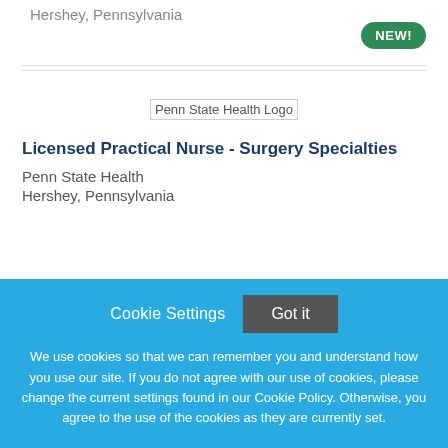Hershey, Pennsylvania
[Figure (logo): Penn State Health Logo placeholder image]
Licensed Practical Nurse - Surgery Specialties
Penn State Health
Hershey, Pennsylvania
Cookie Settings  Got it
We use cookies so that we can remember you and understand how you use our site. If you do not agree with our use of cookies, please change the current settings found in our Cookie Policy. Otherwise, you agree to the use of the cookies as they are currently set.